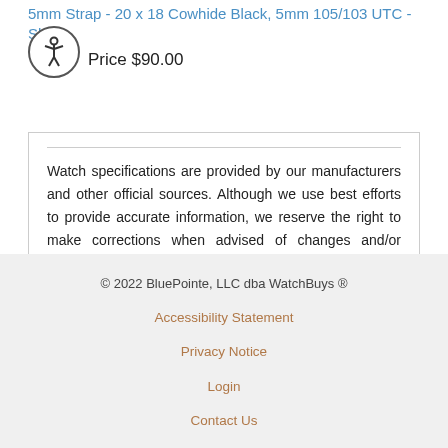5mm Strap - 20 x 18 Cowhide Black, 5mm 105/103 UTC - Short Length
Price $90.00
Watch specifications are provided by our manufacturers and other official sources. Although we use best efforts to provide accurate information, we reserve the right to make corrections when advised of changes and/or errors.
© 2022 BluePointe, LLC dba WatchBuys ®
Accessibility Statement
Privacy Notice
Login
Contact Us